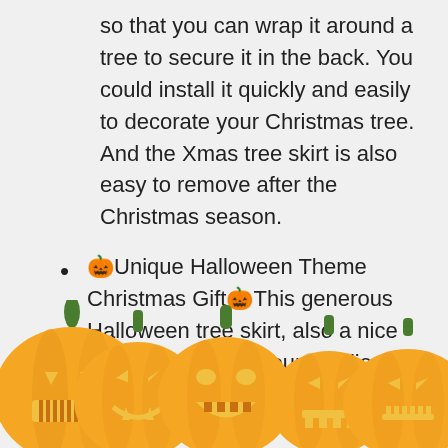so that you can wrap it around a tree to secure it in the back. You could install it quickly and easily to decorate your Christmas tree. And the Xmas tree skirt is also easy to remove after the Christmas season.
🎃Unique Halloween Theme Christmas Gift🎃This generous Halloween tree skirt, also a nice Christmas gift for your families or friends. Add more
[Figure (illustration): A row of five carved Halloween jack-o'-lantern pumpkins with glowing yellow faces and green stems, partially cut off at the bottom of the page.]